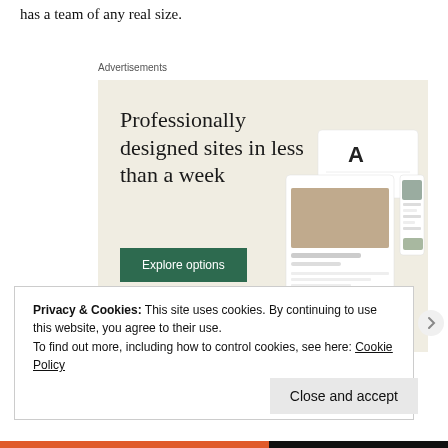has a team of any real size.
Advertisements
[Figure (illustration): WordPress.com advertisement banner with beige background. Large serif text reads 'Professionally designed sites in less than a week'. A green button labeled 'Explore options'. WordPress logo (W in circle) at bottom left. Right side shows mockup screenshots of website designs with food photography.]
Privacy & Cookies: This site uses cookies. By continuing to use this website, you agree to their use.
To find out more, including how to control cookies, see here: Cookie Policy
Close and accept